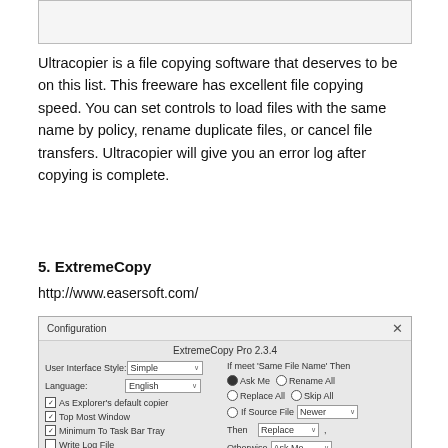[Figure (screenshot): Partial screenshot of a software interface (top portion, cropped)]
Ultracopier is a file copying software that deserves to be on this list. This freeware has excellent file copying speed. You can set controls to load files with the same name by policy, rename duplicate files, or cancel file transfers. Ultracopier will give you an error log after copying is complete.
5. ExtremeCopy
http://www.easersoft.com/
[Figure (screenshot): Screenshot of ExtremeCopy Pro 2.3.4 Configuration dialog showing User Interface Style dropdown set to Simple, Language set to English, checkboxes for As Explorer's default copier, Top Most Window, Minimum To Task Bar Tray (all checked), Write Log File, Verify Data After Copy Done (unchecked), and on the right side options for handling 'Same File Name' including radio buttons for Ask Me, Rename All, Replace All, Skip All, If Source File (with Newer dropdown), Then (Replace dropdown), Otherwise (Ask Me dropdown).]